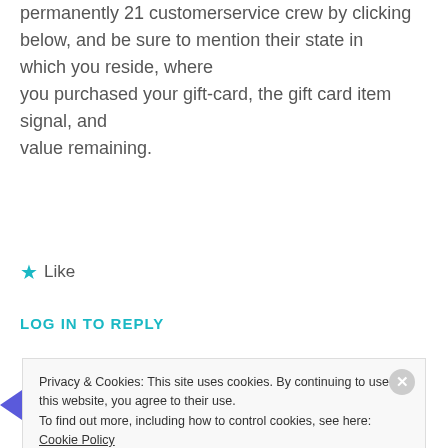permanently 21 customerservice crew by clicking
below, and be sure to mention their state in which you reside, where
you purchased your gift-card, the gift card item signal, and
value remaining.
★ Like
LOG IN TO REPLY
Privacy & Cookies: This site uses cookies. By continuing to use this website, you agree to their use.
To find out more, including how to control cookies, see here: Cookie Policy